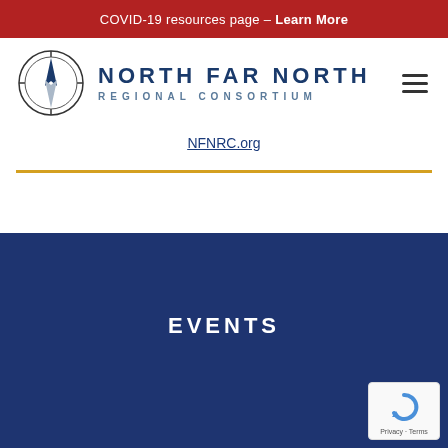COVID-19 resources page – Learn More
[Figure (logo): North Far North Regional Consortium logo — compass rose circle with north arrow, alongside text 'NORTH FAR NORTH / REGIONAL CONSORTIUM']
NFNRC.org
EVENTS